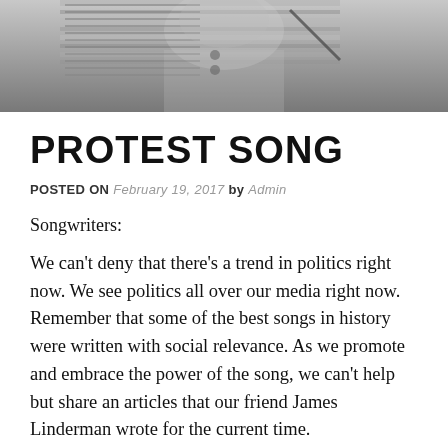[Figure (photo): Black and white photograph of a person, partially visible, appearing to be writing or signing something. High contrast monochrome image.]
PROTEST SONG
POSTED ON February 19, 2017 by Admin
Songwriters:
We can’t deny that there’s a trend in politics right now. We see politics all over our media right now. Remember that some of the best songs in history were written with social relevance. As we promote and embrace the power of the song, we can’t help but share an articles that our friend James Linderman wrote for the current time.